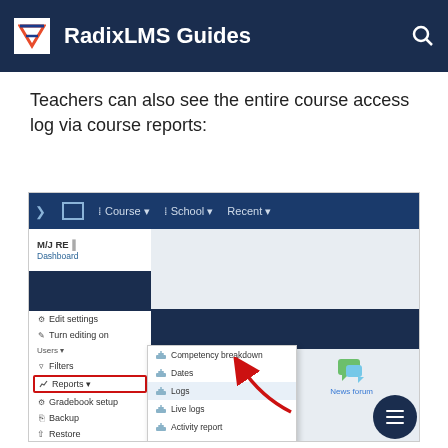RadixLMS Guides
Teachers can also see the entire course access log via course reports:
[Figure (screenshot): Screenshot of RadixLMS course menu showing the Course dropdown expanded with Reports submenu open, highlighting Logs option with a red arrow. Submenu shows: Competency breakdown, Dates, Logs, Live logs, Activity report, Course participation.]